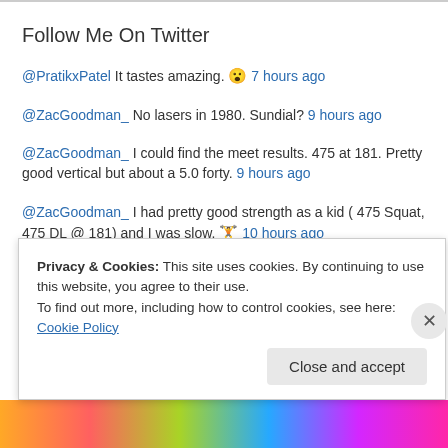Follow Me On Twitter
@PratikxPatel It tastes amazing. 😮 7 hours ago
@ZacGoodman_ No lasers in 1980. Sundial? 9 hours ago
@ZacGoodman_ I could find the meet results. 475 at 181. Pretty good vertical but about a 5.0 forty. 9 hours ago
@ZacGoodman_ I had pretty good strength as a kid ( 475 Squat, 475 DL @ 181) and I was slow. 🏋 10 hours ago
RT @Coach_Swole: Free Share Articles and Books I read year 1 Please retweet. information is free. Shoutout @mbovle1959
Privacy & Cookies: This site uses cookies. By continuing to use this website, you agree to their use.
To find out more, including how to control cookies, see here: Cookie Policy
Close and accept